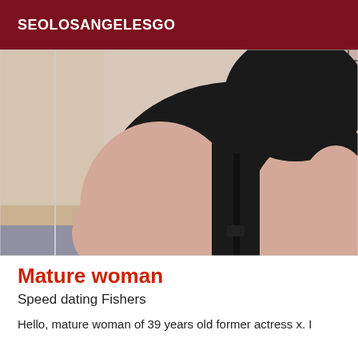SEOLOSANGELESGO
[Figure (photo): Close-up photo of a person wearing a black lingerie bodysuit with fishnet detailing at the top and garter straps, photographed from behind/side angle against a beige wall background.]
Mature woman
Speed dating Fishers
Hello, mature woman of 39 years old former actress x. I